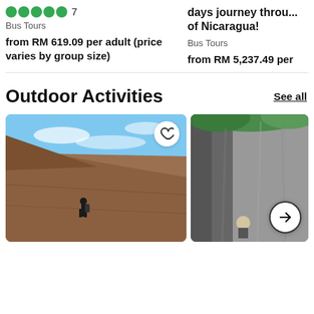5 green circles  7
Bus Tours
from RM 619.09 per adult (price varies by group size)
days journey through of Nicaragua!
Bus Tours
from RM 5,237.49 per
Outdoor Activities
See all
[Figure (photo): Person standing on volcanic slope with mountains in the background, blue sky with clouds. Heart/favorite button in top right corner.]
[Figure (photo): Rock cave or cliff face with green foliage at top, person visible below. Arrow navigation button in bottom right corner.]